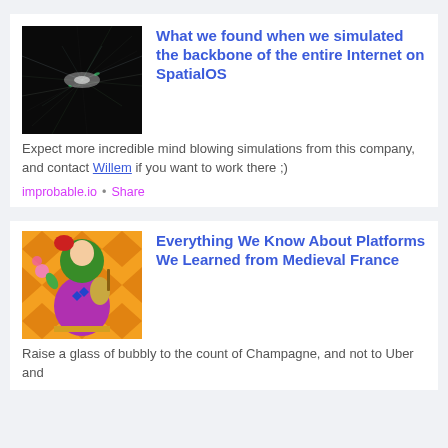[Figure (photo): Dark background with abstract white and green light streaks resembling an internet network visualization]
What we found when we simulated the backbone of the entire Internet on SpatialOS
Expect more incredible mind blowing simulations from this company, and contact Willem if you want to work there ;)
improbable.io • Share
[Figure (photo): Colorful medieval-style illustration featuring a figure in ornate costume with orange diamond pattern background]
Everything We Know About Platforms We Learned from Medieval France
Raise a glass of bubbly to the count of Champagne, and not to Uber and